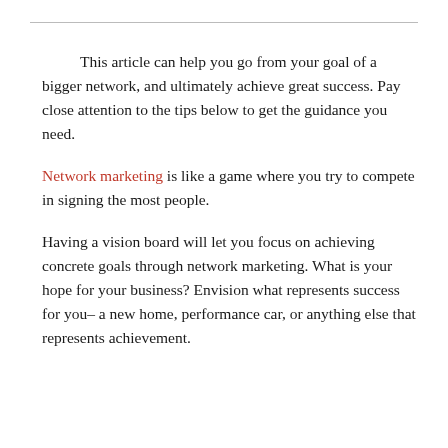This article can help you go from your goal of a bigger network, and ultimately achieve great success. Pay close attention to the tips below to get the guidance you need.
Network marketing is like a game where you try to compete in signing the most people.
Having a vision board will let you focus on achieving concrete goals through network marketing. What is your hope for your business? Envision what represents success for you– a new home, performance car, or anything else that represents achievement.